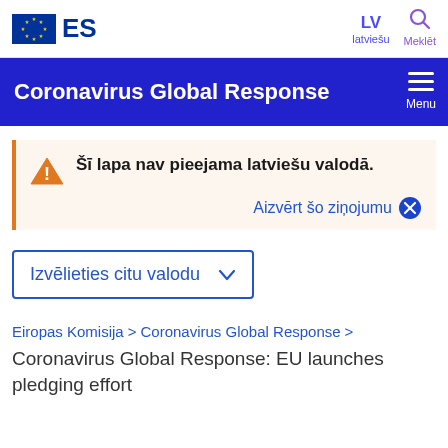ES | LV latviešu | Meklēt
Coronavirus Global Response
Šī lapa nav pieejama latviešu valodā.
Aizvērt šo ziņojumu
Izvēlieties citu valodu
Eiropas Komisija > Coronavirus Global Response >
Coronavirus Global Response: EU launches pledging effort